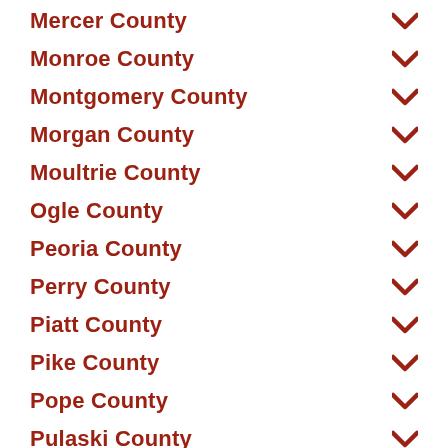Mercer County
Monroe County
Montgomery County
Morgan County
Moultrie County
Ogle County
Peoria County
Perry County
Piatt County
Pike County
Pope County
Pulaski County
Putnam County